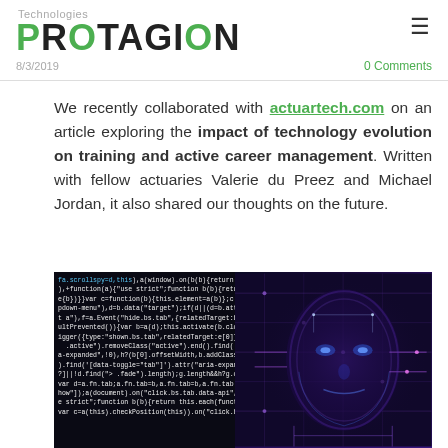Technologies PROTAGION 8/3/2019 0 Comments
We recently collaborated with actuartech.com on an article exploring the impact of technology evolution on training and active career management. Written with fellow actuaries Valerie du Preez and Michael Jordan, it also shared our thoughts on the future.
[Figure (photo): An image of a robotic/AI face overlaid with programming code in a dark background. The left portion shows JavaScript/jQuery code text in white/blue on black, while the right side shows a glowing purple-blue robotic face with circuit patterns.]